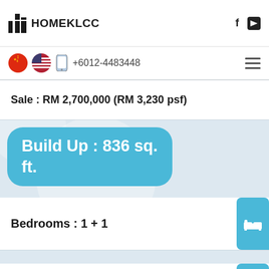HOMEKLCC
+6012-4483448
Sale : RM 2,700,000 (RM 3,230 psf)
Build Up : 836 sq. ft.
Bedrooms : 1 + 1
Bathrooms : 1